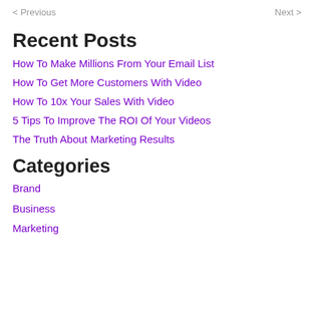< Previous   Next >
Recent Posts
How To Make Millions From Your Email List
How To Get More Customers With Video
How To 10x Your Sales With Video
5 Tips To Improve The ROI Of Your Videos
The Truth About Marketing Results
Categories
Brand
Business
Marketing